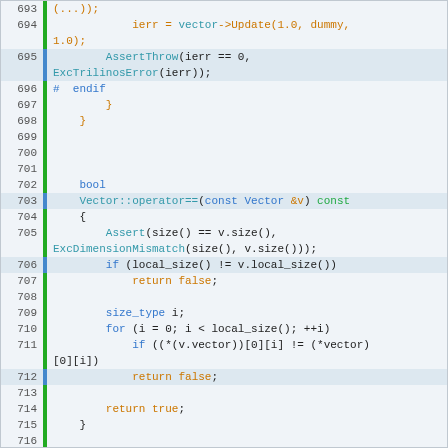[Figure (screenshot): Source code listing showing C++ code for Vector class methods, lines 693-722, including vector update, operator==, and operator!= implementations with syntax highlighting.]